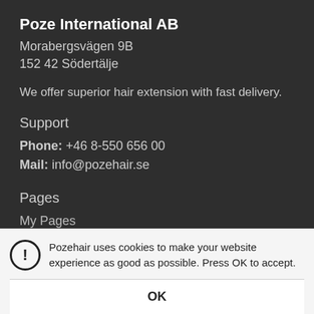Poze International AB
Morabergsvägen 9B
152 42 Södertälje
We offer superior hair extension with fast delivery.
Support
Phone: +46 8-550 656 00
Mail: info@pozehair.se
Pages
My Pages
Hair guide
Salon
Corporate
Privacy
Pozehair uses cookies to make your website experience as good as possible. Press OK to accept.